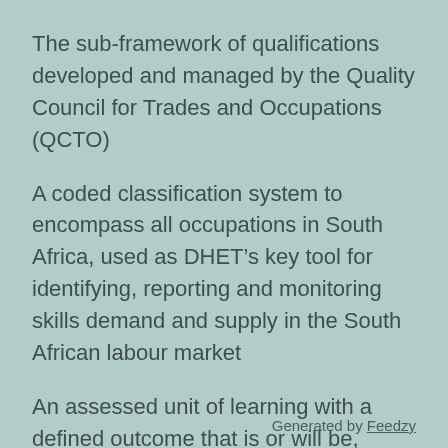The sub-framework of qualifications developed and managed by the Quality Council for Trades and Occupations (QCTO)
A coded classification system to encompass all occupations in South Africa, used as DHET’s key tool for identifying, reporting and monitoring skills demand and supply in the South African labour market
An assessed unit of learning with a defined outcome that is or will be, registered as part of a qualification on the NQF
Generated by Feedzy